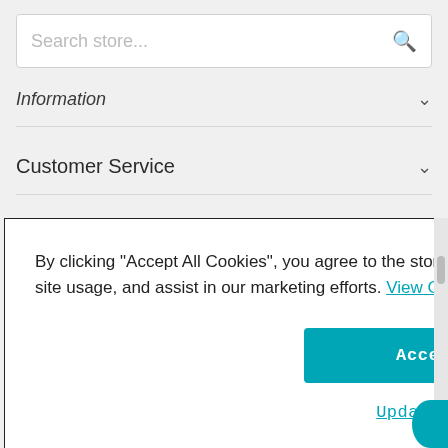[Figure (screenshot): Search store input box with placeholder text and magnifying glass icon]
Information
Customer Service
About Us
By clicking "Accept All Cookies", you agree to the storing of cookies on your device to enhance site navigation, analyze site usage, and assist in our marketing efforts. View Cookie Policy
Accept All Cookies
Update Cookie Settings